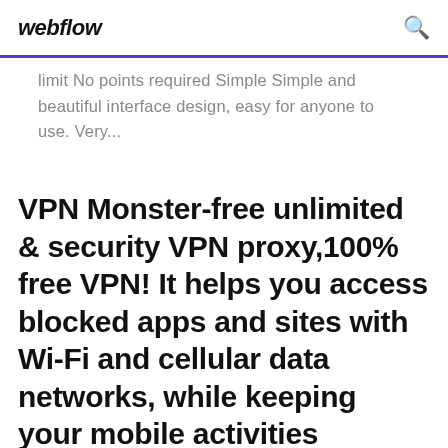webflow
limit No points required Simple Simple and beautiful interface design, easy for anyone to use. Very...
VPN Monster-free unlimited & security VPN proxy,100% free VPN! It helps you access blocked apps and sites with Wi-Fi and cellular data networks, while keeping your mobile activities anonymous, online private activities and secure!